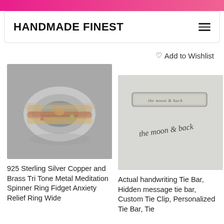HANDMADE FINEST
Add to Wishlist
[Figure (photo): 925 Sterling Silver Copper and Brass Tri Tone Metal Meditation Spinner Ring Fidget Anxiety Relief Ring Wide — photo of ornate wide silver ring with copper and brass spinner bands and gemstone accents]
[Figure (photo): Actual handwriting Tie Bar, Hidden message tie bar, Custom Tie Clip, Personalized Tie Bar, Tie — photo of a silver tie bar engraved with the moon & back with handwritten note below]
925 Sterling Silver Copper and Brass Tri Tone Metal Meditation Spinner Ring Fidget Anxiety Relief Ring Wide
Actual handwriting Tie Bar, Hidden message tie bar, Custom Tie Clip, Personalized Tie Bar, Tie